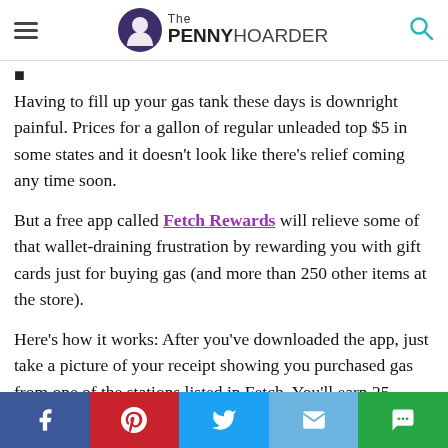The PENNY HOARDER
Having to fill up your gas tank these days is downright painful. Prices for a gallon of regular unleaded top $5 in some states and it doesn't look like there's relief coming any time soon.
But a free app called Fetch Rewards will relieve some of that wallet-draining frustration by rewarding you with gift cards just for buying gas (and more than 250 other items at the store).
Here's how it works: After you've downloaded the app, just take a picture of your receipt showing you purchased gas from one of the stations listed in Fetch. You'll earn 25 points for each purchase, which can be redeemed for a Visa gift